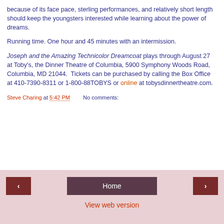because of its face pace, sterling performances, and relatively short length should keep the youngsters interested while learning about the power of dreams.
Running time. One hour and 45 minutes with an intermission.
Joseph and the Amazing Technicolor Dreamcoat plays through August 27 at Toby's, the Dinner Theatre of Columbia, 5900 Symphony Woods Road, Columbia, MD 21044. Tickets can be purchased by calling the Box Office at 410-7390-8311 or 1-800-88TOBYS or online at tobysdinnertheatre.com.
Steve Charing at 5:42 PM   No comments:
< Home > View web version